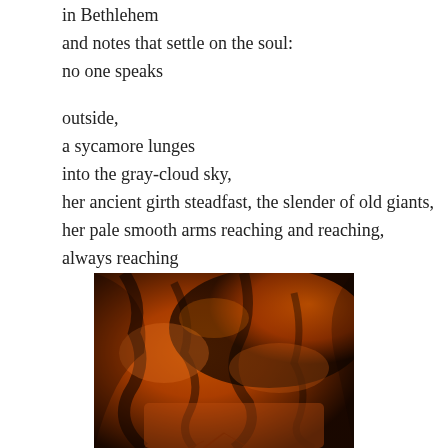in Bethlehem
and notes that settle on the soul:
no one speaks

outside,
a sycamore lunges
into the gray-cloud sky,
her ancient girth steadfast, the slender of old giants,
her pale smooth arms reaching and reaching,
always reaching
[Figure (photo): A close-up photograph of tree bark or rocky surface bathed in deep orange-red tones, showing textured, rough surface with shadows and light highlights.]